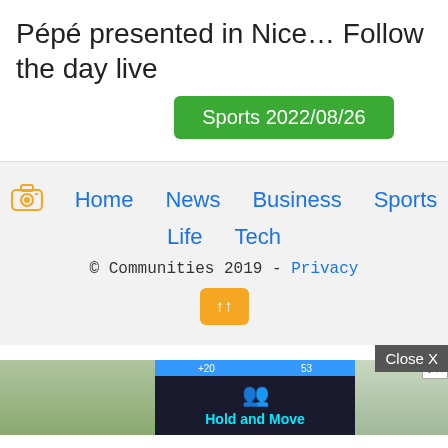Pépé presented in Nice… Follow the day live
Sports 2022/08/26
Home  News  Business  Sports  Life  Tech  © Communities 2019 - Privacy
[Figure (screenshot): Advertisement banner with outdoor photo and Hold and Move game ad]